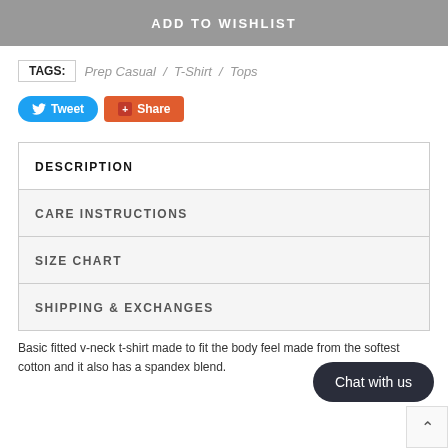ADD TO WISHLIST
TAGS:  Prep Casual  /  T-Shirt  /  Tops
[Figure (other): Tweet and Share social buttons]
DESCRIPTION
CARE INSTRUCTIONS
SIZE CHART
SHIPPING & EXCHANGES
Basic fitted v-neck t-shirt made to fit the body feel made from the softest cotton and it also has a spandex blend.